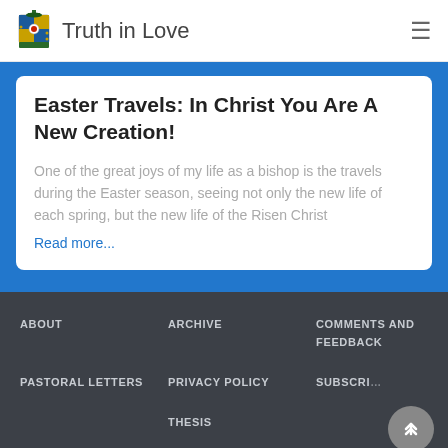Truth in Love
Easter Travels: In Christ You Are A New Creation!
One of the great joys of my life as a bishop is the travels during the Easter season, seeing not only the new life of each spring, but the new life of the Risen Christ
Read more...
ABOUT   ARCHIVE   COMMENTS AND FEEDBACK   PASTORAL LETTERS   PRIVACY POLICY   SUBSCRIBE   THESIS